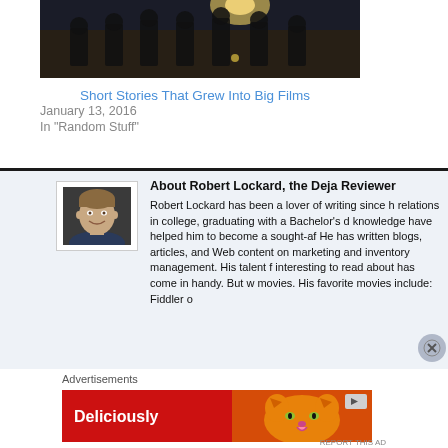[Figure (photo): Dark movie scene showing silhouettes of armored soldiers in a dimly lit stone corridor]
Short Stories That Grew Into Big Films
January 13, 2016
In "Random Stuff"
About Robert Lockard, the Deja Reviewer
[Figure (photo): Headshot photo of Robert Lockard, a young man smiling]
Robert Lockard has been a lover of writing since h... relations in college, graduating with a Bachelor's d... knowledge have helped him to become a sought-af... He has written blogs, articles, and Web content on... marketing and inventory management. His talent f... interesting to read about has come in handy. But w... movies. His favorite movies include: Fiddler o...
Advertisements
[Figure (screenshot): Red advertisement banner with text 'Deliciously' and a cat photo]